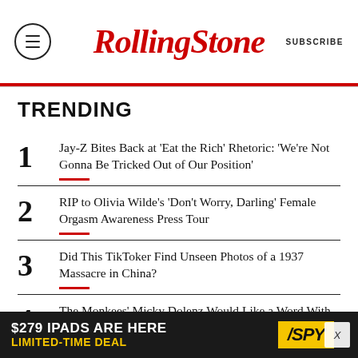RollingStone — SUBSCRIBE
TRENDING
1 — Jay-Z Bites Back at 'Eat the Rich' Rhetoric: 'We're Not Gonna Be Tricked Out of Our Position'
2 — RIP to Olivia Wilde's 'Don't Worry, Darling' Female Orgasm Awareness Press Tour
3 — Did This TikToker Find Unseen Photos of a 1937 Massacre in China?
4 — The Monkees' Micky Dolenz Would Like a Word With the FBI
[Figure (advertisement): $279 IPADS ARE HERE LIMITED-TIME DEAL — SPY advertisement banner]